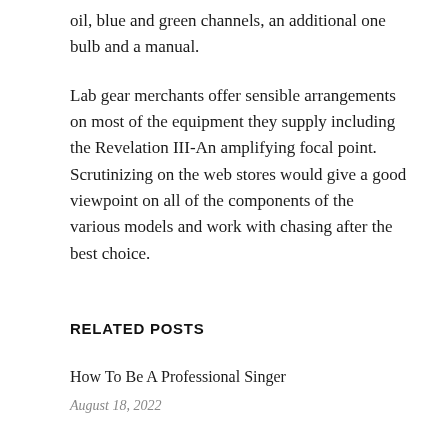oil, blue and green channels, an additional one bulb and a manual.
Lab gear merchants offer sensible arrangements on most of the equipment they supply including the Revelation III-An amplifying focal point. Scrutinizing on the web stores would give a good viewpoint on all of the components of the various models and work with chasing after the best choice.
RELATED POSTS
How To Be A Professional Singer
August 18, 2022